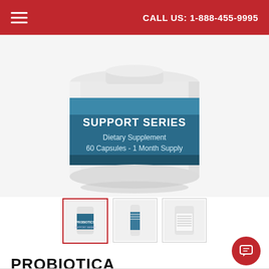CALL US: 1-888-455-9995
[Figure (photo): White cylindrical supplement bottle with blue label reading 'SUPPORT SERIES Dietary Supplement 60 Capsules - 1 Month Supply']
[Figure (photo): Three thumbnail images of supplement bottle: front view (active, red border), side view, and back label view]
PROBIOTICA